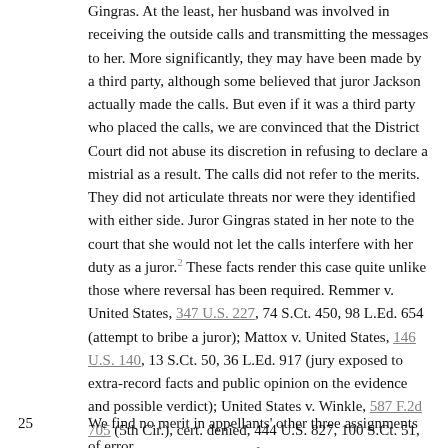Gingras. At the least, her husband was involved in receiving the outside calls and transmitting the messages to her. More significantly, they may have been made by a third party, although some believed that juror Jackson actually made the calls. But even if it was a third party who placed the calls, we are convinced that the District Court did not abuse its discretion in refusing to declare a mistrial as a result. The calls did not refer to the merits. They did not articulate threats nor were they identified with either side. Juror Gingras stated in her note to the court that she would not let the calls interfere with her duty as a juror.2 These facts render this case quite unlike those where reversal has been required. Remmer v. United States, 347 U.S. 227, 74 S.Ct. 450, 98 L.Ed. 654 (attempt to bribe a juror); Mattox v. United States, 146 U.S. 140, 13 S.Ct. 50, 36 L.Ed. 917 (jury exposed to extra-record facts and public opinion on the evidence and possible verdict); United States v. Winkle, 587 F.2d 705 (5th Cir.), cert. denied, 444 U.S. 827, 100 S.Ct. 51, 62 L.Ed.2d 34 (1979) (jury found out that a co-defendant had pleaded guilty). The outside calls did inject an irregularity into the jury deliberations here, but we agree with the District Court that the essential fairness of the process was not compromised.
25 We find no merit in appellants' other three assignments of error